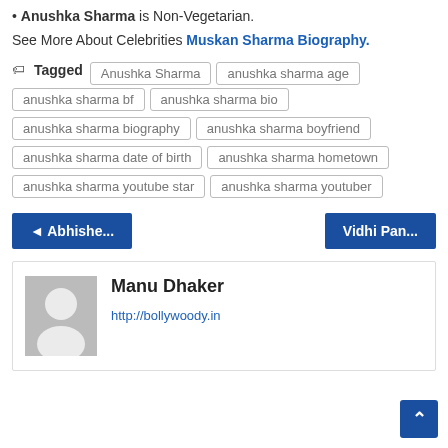Anushka Sharma is Non-Vegetarian.
See More About Celebrities Muskan Sharma Biography.
Tagged  Anushka Sharma  anushka sharma age  anushka sharma bf  anushka sharma bio  anushka sharma biography  anushka sharma boyfriend  anushka sharma date of birth  anushka sharma hometown  anushka sharma youtube star  anushka sharma youtuber
◄ Abhishe...   Vidhi Pan...
Manu Dhaker
http://bollywoody.in